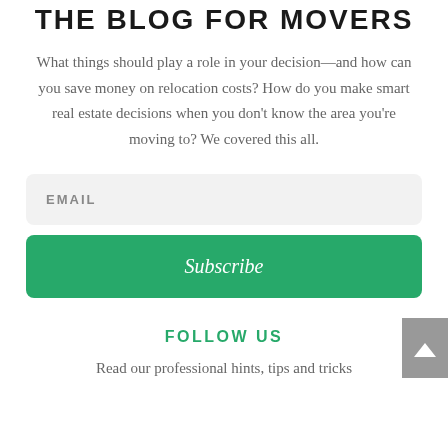THE BLOG FOR MOVERS
What things should play a role in your decision—and how can you save money on relocation costs? How do you make smart real estate decisions when you don't know the area you're moving to? We covered this all.
EMAIL
Subscribe
FOLLOW US
Read our professional hints, tips and tricks